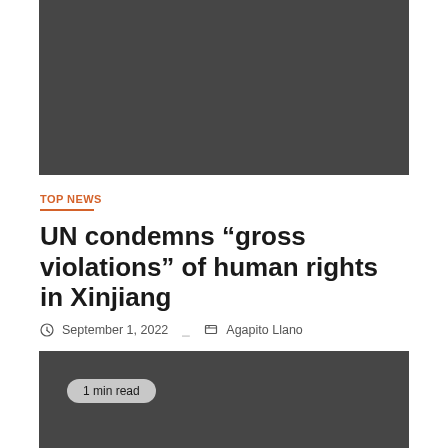[Figure (photo): Dark gray rectangular image placeholder at the top of the article]
TOP NEWS
UN condemns “gross violations” of human rights in Xinjiang
September 1, 2022   Agapito Llano
[Figure (photo): Dark gray rectangular image placeholder with a '1 min read' badge overlay]